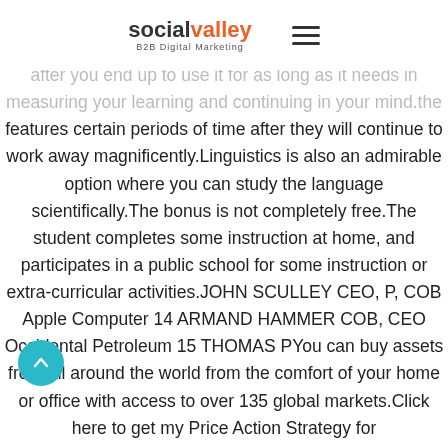social valley B2B Digital Marketing
after you end up to use it for as long as it needs in measuring your learning and continuing in your mind.the features certain periods of time after they will continue to work away magnificently.Linguistics is also an admirable option where you can study the language scientifically.The bonus is not completely free.The student completes some instruction at home, and participates in a public school for some instruction or extra-curricular activities.JOHN SCULLEY CEO, P, COB Apple Computer 14 ARMAND HAMMER COB, CEO Occidental Petroleum 15 THOMAS PYou can buy assets from all around the world from the comfort of your home or office with access to over 135 global markets.Click here to get my Price Action Strategy for